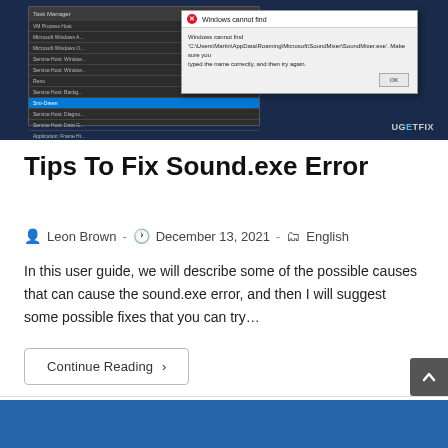[Figure (screenshot): Screenshot showing Windows Task Manager panel on dark background with a Windows error dialog overlay reading 'Windows cannot find C:\Users\..\AppData\Roaming\Microsoft\SoundMixer\SoundMixer.exe'. UGETFIX watermark visible in bottom right.]
Tips To Fix Sound.exe Error
Leon Brown  ·  December 13, 2021  ·  English
In this user guide, we will describe some of the possible causes that can cause the sound.exe error, and then I will suggest some possible fixes that you can try…
Continue Reading ›